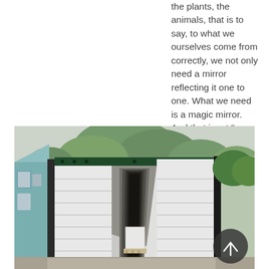the plants, the animals, that is to say, to what we ourselves come from correctly, we not only need a mirror reflecting it one to one. What we need is a magic mirror. And that is art." Alexander Kluge
[Figure (photo): An open shipping container with dark green trim, doors open wide revealing white corrugated interior walls and a white rectangular box on a pallet inside. Background shows trees, a building with windows on the left, and outdoor setting. A dark circular navigation arrow overlay appears at bottom right.]